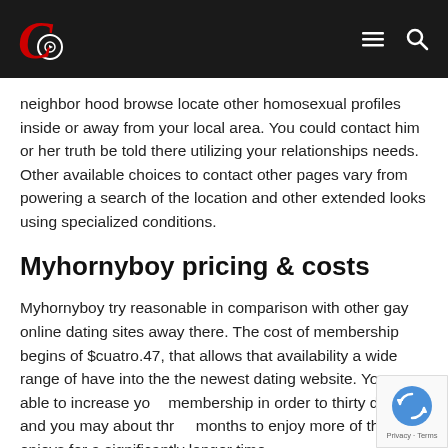C [logo] [hamburger menu] [search icon]
neighbor hood browse locate other homosexual profiles inside or away from your local area. You could contact him or her truth be told there utilizing your relationships needs. Other available choices to contact other pages vary from powering a search of the location and other extended looks using specialized conditions.
Myhornyboy pricing & costs
Myhornyboy try reasonable in comparison with other gay online dating sites away there. The cost of membership begins of $cuatro.47, that allows that availability a wide range of have into the the newest dating website. You are able to increase your membership in order to thirty days and you may about three months to enjoy more of the enjoys for a significantly longer time.